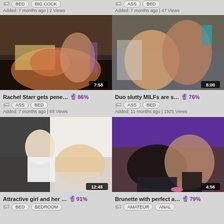BED | BIG COCK — Added: 7 months ago | 2 Views
ASS | BED — Added: 7 months ago | 47 Views
[Figure (photo): Video thumbnail with duration 7:58, Rachel Starr gets pene... 86%]
Rachel Starr gets pene... 86% — ASS BED — Added: 7 months ago | 68 Views
[Figure (photo): Video thumbnail with duration 8:00, Duo slutty MILFs are s... 76%]
Duo slutty MILFs are s... 76% — ASS BED — Added: 11 months ago | 1925 Views
[Figure (photo): Video thumbnail with duration 12:45, Attractive girl and her... 91%]
Attractive girl and her... 91% — BED BEDROOM — Added below
[Figure (photo): Video thumbnail with duration 4:56, Brunette with perfect a... 79%]
Brunette with perfect a... 79% — AMATEUR ANAL